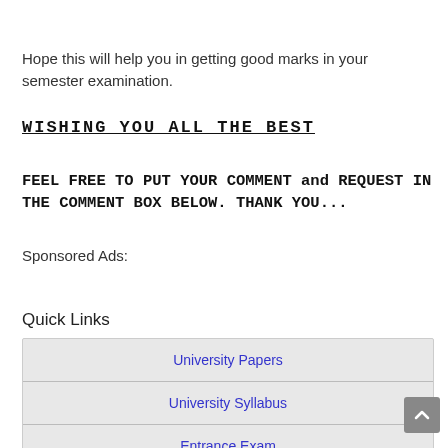Hope this will help you in getting good marks in your semester examination.
WISHING YOU ALL THE BEST
FEEL FREE TO PUT YOUR COMMENT and REQUEST IN THE COMMENT BOX BELOW. THANK YOU...
Sponsored Ads:
Quick Links
| University Papers |
| University Syllabus |
| Entrance Exam |